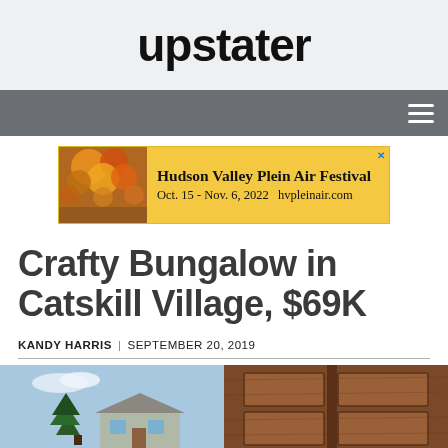upstater
[Figure (other): Navigation bar with hamburger menu icon on dark gray background]
[Figure (other): Advertisement banner for Hudson Valley Plein Air Festival, Oct. 15 - Nov. 6, 2022, hvpleinair.com, with autumn foliage photo on left and yellow background]
Crafty Bungalow in Catskill Village, $69K
KANDY HARRIS | SEPTEMBER 20, 2019
[Figure (photo): Two photos side by side: left shows a bungalow house exterior with a pine tree and blue sky; right shows a close-up of a wooden door with paneling]